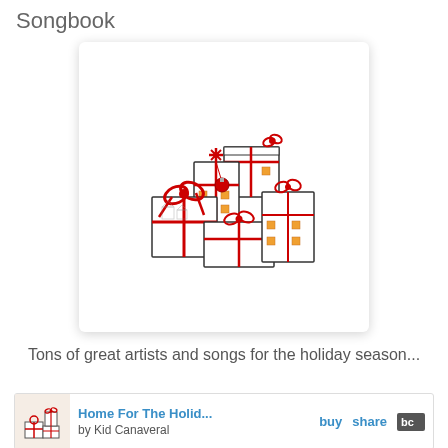Songbook
[Figure (illustration): A pile of gift-wrapped Christmas presents with red bows and ribbons, illustrated in a line-art style with some orange/gold details, shown in a white card with rounded corners and drop shadow.]
Tons of great artists and songs for the holiday season...
Home For The Holid...  buy  share  bc
by Kid Canaveral